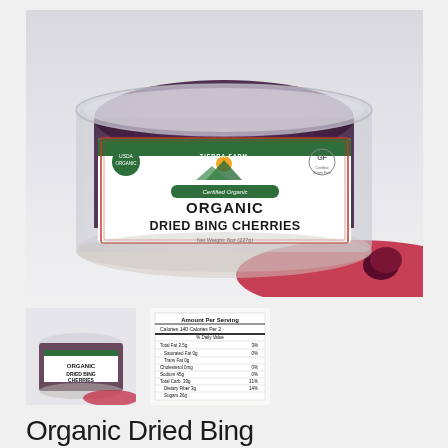[Figure (photo): A clear plastic tub of Tierra Farm Organic Dried Bing Cherries, 8oz (227g), with a white and green label featuring a USDA Organic seal and Certified Gluten Free logo. Dark cherries visible inside. A few cherries rest on a red surface in front of the container. Light grey background.]
[Figure (photo): Small thumbnail of the same Tierra Farm Organic Dried Bing Cherries container.]
[Figure (table-as-image): Nutrition facts panel thumbnail showing Amount Per Serving, Calories, Total Fat, Saturated Fat, Trans Fat, Cholesterol, Sodium, Total Carb, Dietary Fiber, Sugars, Protein, Vitamin A, Vitamin C.]
Organic Dried Bing